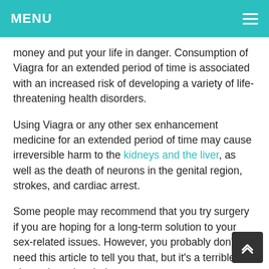MENU
money and put your life in danger. Consumption of Viagra for an extended period of time is associated with an increased risk of developing a variety of life-threatening health disorders.
Using Viagra or any other sex enhancement medicine for an extended period of time may cause irreversible harm to the kidneys and the liver, as well as the death of neurons in the genital region, strokes, and cardiac arrest.
Some people may recommend that you try surgery if you are hoping for a long-term solution to your sex-related issues. However, you probably don't need this article to tell you that, but it's a terrible plan to have in mind.
No one should ever have surgery unless it is